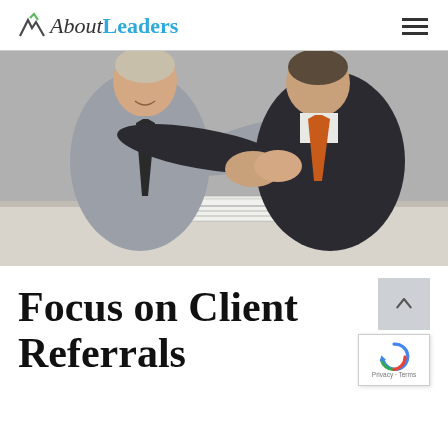AboutLeaders
[Figure (photo): Two men in business attire shaking hands across a desk with documents on it. Left man wears a gray shirt and black tie; right man wears a dark suit and orange tie.]
Focus on Client Referrals